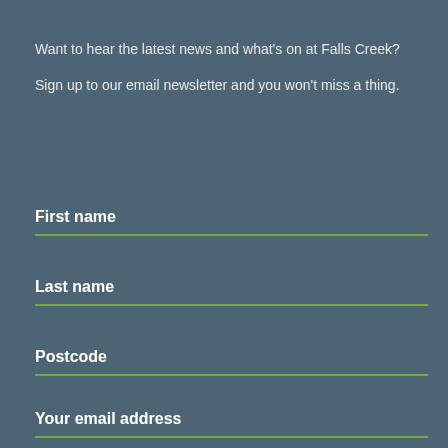Want to hear the latest news and what's on at Falls Creek?

Sign up to our email newsletter and you won't miss a thing.
First name
Last name
Postcode
Your email address